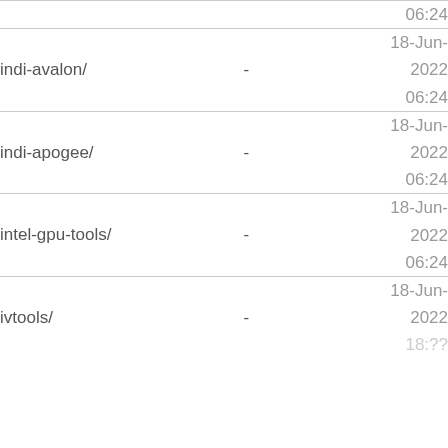| Name | Size | Date |
| --- | --- | --- |
|  |  | 06:24 |
| indi-avalon/ | - | 18-Jun-
2022
06:24 |
| indi-apogee/ | - | 18-Jun-
2022
06:24 |
| intel-gpu-tools/ | - | 18-Jun-
2022
06:24 |
| ivtools/ | - | 18-Jun-
2022
18:?? |